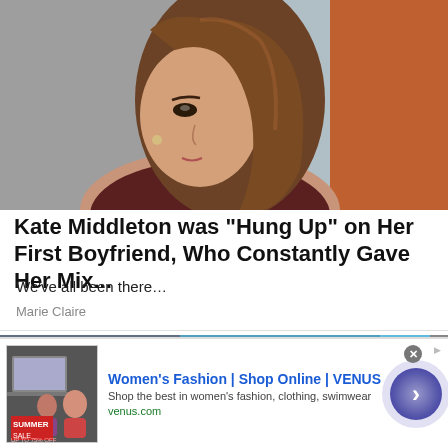[Figure (photo): Photo of a young woman with long brown hair, looking to the side, wearing a dark jacket with white collar, outdoors.]
Kate Middleton was “Hung Up” on Her First Boyfriend, Who Constantly Gave Her Mix…
We’ve all been there…
Marie Claire
[Figure (photo): Partial view of another article thumbnail showing people, partial image strip.]
[Figure (screenshot): Advertisement banner: Women’s Fashion | Shop Online | VENUS. Shop the best in women’s fashion, clothing, swimwear. venus.com. Shows a summer sale promotional image with women. Has a close button (x) and a forward arrow button.]